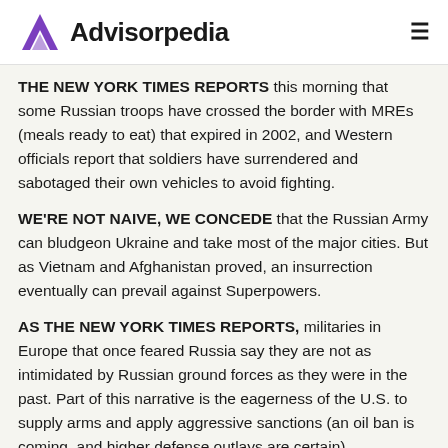Advisorpedia
THE NEW YORK TIMES REPORTS this morning that some Russian troops have crossed the border with MREs (meals ready to eat) that expired in 2002, and Western officials report that soldiers have surrendered and sabotaged their own vehicles to avoid fighting.
WE'RE NOT NAIVE, WE CONCEDE that the Russian Army can bludgeon Ukraine and take most of the major cities. But as Vietnam and Afghanistan proved, an insurrection eventually can prevail against Superpowers.
AS THE NEW YORK TIMES REPORTS, militaries in Europe that once feared Russia say they are not as intimidated by Russian ground forces as they were in the past. Part of this narrative is the eagerness of the U.S. to supply arms and apply aggressive sanctions (an oil ban is coming, and higher defense outlays are certain).